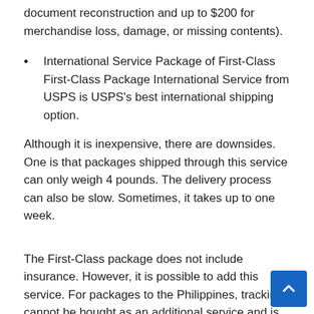document reconstruction and up to $200 for merchandise loss, damage, or missing contents).
International Service Package of First-Class First-Class Package International Service from USPS is USPS's best international shipping option.
Although it is inexpensive, there are downsides. One is that packages shipped through this service can only weigh 4 pounds. The delivery process can also be slow. Sometimes, it takes up to one week.
The First-Class package does not include insurance. However, it is possible to add this service. For packages to the Philippines, tracking cannot be bought as an additional service and is not provided.